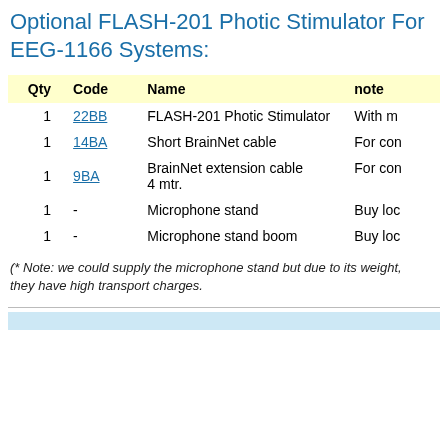Optional FLASH-201 Photic Stimulator For EEG-1166 Systems:
| Qty | Code | Name | note |
| --- | --- | --- | --- |
| 1 | 22BB | FLASH-201 Photic Stimulator | With m… |
| 1 | 14BA | Short BrainNet cable | For con… |
| 1 | 9BA | BrainNet extension cable 4 mtr. | For con… |
| 1 | - | Microphone stand | Buy loc… |
| 1 | - | Microphone stand boom | Buy loc… |
(* Note: we could supply the microphone stand but due to its weight, they have high transport charges.